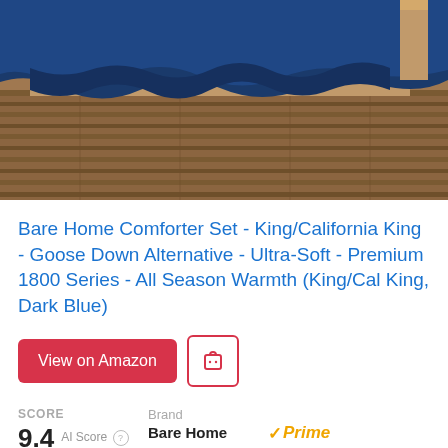[Figure (photo): Photo of a dark blue comforter set on a wooden bed frame with hardwood flooring visible below.]
Bare Home Comforter Set - King/California King - Goose Down Alternative - Ultra-Soft - Premium 1800 Series - All Season Warmth (King/Cal King, Dark Blue)
View on Amazon
SCORE
9.4 AI Score
Brand
Bare Home
Prime